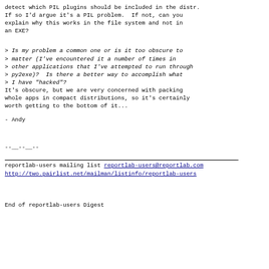detect which PIL plugins should be included in the distr. If so I'd argue it's a PIL problem.  If not, can you explain why this works in the file system and not in an EXE?
> Is my problem a common one or is it too obscure to
> matter (I've encountered it a number of times in
> other applications that I've attempted to run through
> py2exe)?  Is there a better way to accomplish what
> I have "hacked"?
It's obscure, but we are very concerned with packing whole apps in compact distributions, so it's certainly worth getting to the bottom of it...
- Andy
--__--__--
reportlab-users mailing list
reportlab-users@reportlab.com
http://two.pairlist.net/mailman/listinfo/reportlab-users
End of reportlab-users Digest